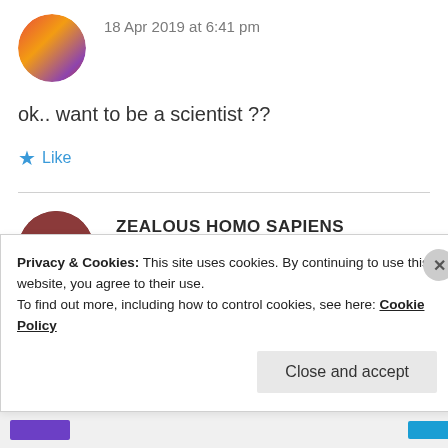18 Apr 2019 at 6:41 pm
ok.. want to be a scientist ??
Like
ZEALOUS HOMO SAPIENS
18 Apr 2019 at 6:42 pm
Privacy & Cookies: This site uses cookies. By continuing to use this website, you agree to their use. To find out more, including how to control cookies, see here: Cookie Policy
Close and accept